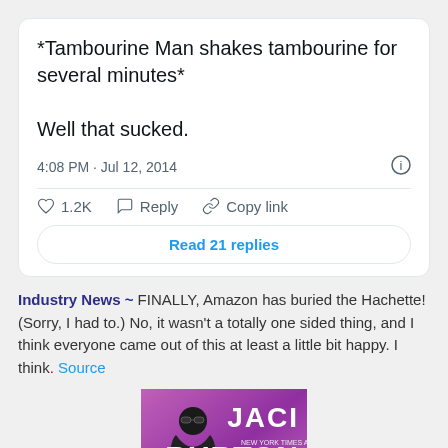*Tambourine Man shakes tambourine for several minutes*

Well that sucked.
4:08 PM · Jul 12, 2014
1.2K  Reply  Copy link
Read 21 replies
Industry News ~ FINALLY, Amazon has buried the Hachette! (Sorry, I had to.) No, it wasn't a totally one sided thing, and I think everyone came out of this at least a little bit happy. I think. Source
[Figure (photo): Book cover for Jaci Burton featuring a muscular man in sunglasses and black tank top holding a saxophone, against a pink/purple background with the author name JACI BURTON in large white letters]